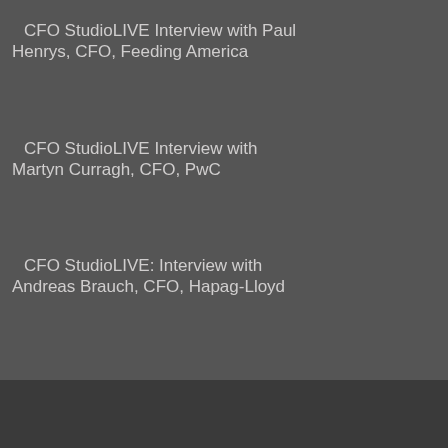CFO StudioLIVE Interview with Paul Henrys, CFO, Feeding America
CFO StudioLIVE Interview with Martyn Curragh, CFO, PwC
CFO StudioLIVE: Interview with Andreas Brauch, CFO, Hapag-Lloyd